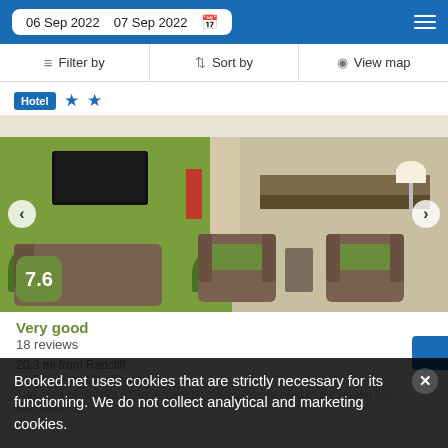06 Sep 2022   07 Sep 2022
Filter by   Sort by   View map
Hotel ★★
[Figure (photo): Hotel lobby interior with green walls, wall-mounted TV, reception counter, brown armchairs with green cushions, and a lamp. Score badge showing 7.6.]
Very good
18 reviews
20.3 mi from Radcliff
21.3 mi from City Center
The area of Brooks offers American specialties served in the quaint bar restaurant and
Booked.net uses cookies that are strictly necessary for its functioning. We do not collect analytical and marketing cookies.